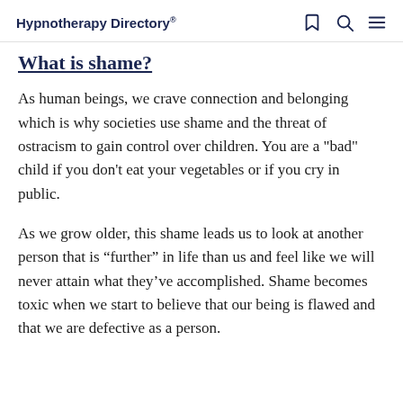Hypnotherapy Directory
What is shame?
As human beings, we crave connection and belonging which is why societies use shame and the threat of ostracism to gain control over children. You are a "bad" child if you don't eat your vegetables or if you cry in public.
As we grow older, this shame leads us to look at another person that is “further” in life than us and feel like we will never attain what they’ve accomplished. Shame becomes toxic when we start to believe that our being is flawed and that we are defective as a person.